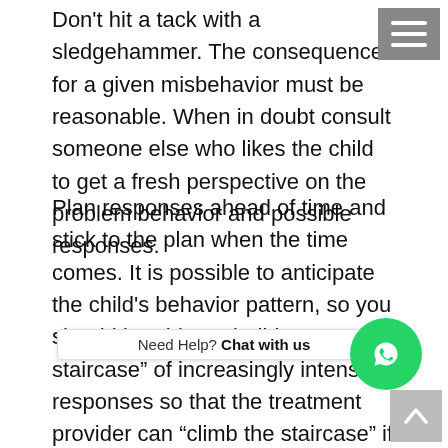Don't hit a tack with a sledgehammer. The consequence for a given misbehavior must be reasonable. When in doubt consult someone else who likes the child to get a fresh perspective on the problem behavior and possible responses.
Plan responses ahead of time and stick to the plan when the time comes. It is possible to anticipate the child's behavior pattern, so you should be able to "build a staircase" of increasingly intensive responses so that the treatment provider can "climb the staircase" if the child's behavior does not respond to the first, or second, or third level of response. The top of the staircase is always "911" and the treatment provider should not be afraid to contact local law enforcement au[thorities if the behavior escalates] it setting beyond a level at which the treatment prov[ider] is capable.